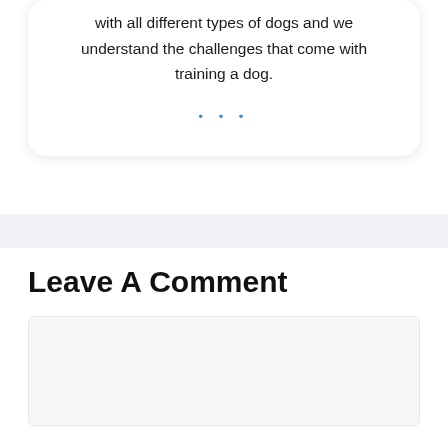with all different types of dogs and we understand the challenges that come with training a dog.
Leave A Comment